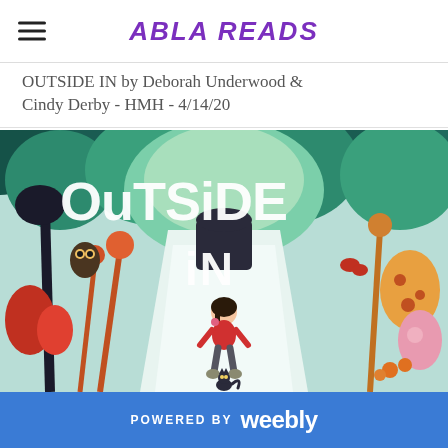ABLA READS
OUTSIDE IN by Deborah Underwood & Cindy Derby - HMH - 4/14/20
[Figure (illustration): Book cover of 'Outside In' showing a young girl with dark hair and a red sweater walking down a snowy path with a cat, surrounded by lush colorful illustrated forest with teal, green, orange, and pink plants and trees. Large white chunky text reads 'OuTSiDE' and 'iN' overlaid on the scene.]
POWERED BY weebly